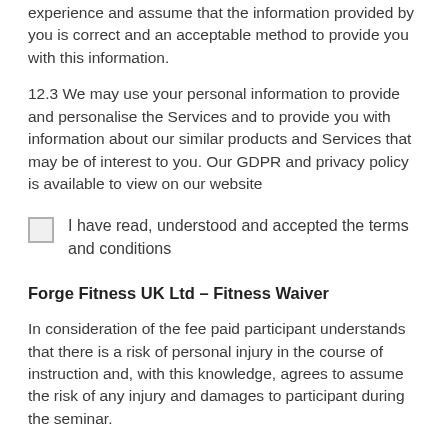experience and assume that the information provided by you is correct and an acceptable method to provide you with this information.
12.3 We may use your personal information to provide and personalise the Services and to provide you with information about our similar products and Services that may be of interest to you. Our GDPR and privacy policy is available to view on our website
I have read, understood and accepted the terms and conditions
Forge Fitness UK Ltd - Fitness Waiver
In consideration of the fee paid participant understands that there is a risk of personal injury in the course of instruction and, with this knowledge, agrees to assume the risk of any injury and damages to participant during the seminar.